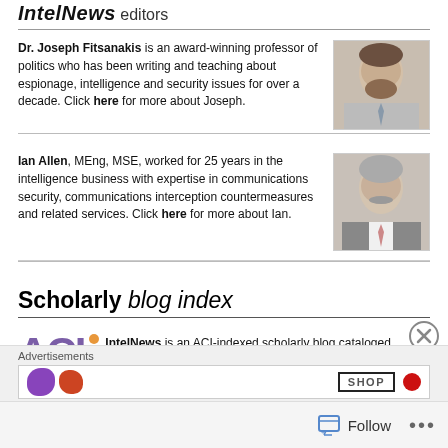IntelNews editors
Dr. Joseph Fitsanakis is an award-winning professor of politics who has been writing and teaching about espionage, intelligence and security issues for over a decade. Click here for more about Joseph.
[Figure (photo): Headshot photo of Dr. Joseph Fitsanakis, a man with a beard wearing a shirt and tie]
Ian Allen, MEng, MSE, worked for 25 years in the intelligence business with expertise in communications security, communications interception countermeasures and related services. Click here for more about Ian.
[Figure (photo): Headshot photo of Ian Allen, an older man with a mustache wearing a suit]
Scholarly blog index
[Figure (logo): ACI logo in purple with three orange dots]
IntelNews is an ACI-indexed scholarly blog cataloged through the U.S. Library of Congress. Click here to access IntelNews on the ACI index.
Advertisements
Follow ...